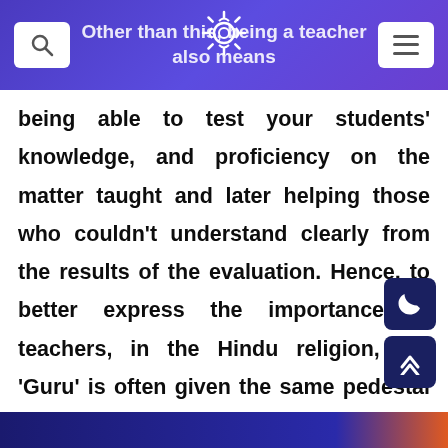Other than this, being a teacher also means
being able to test your students' knowledge, and proficiency on the matter taught and later helping those who couldn't understand clearly from the results of the evaluation. Hence, to better express the importance of teachers, in the Hindu religion, the 'Guru' is often given the same pedestal as that of God and parents. The contribution behind one's success will always be a teacher.